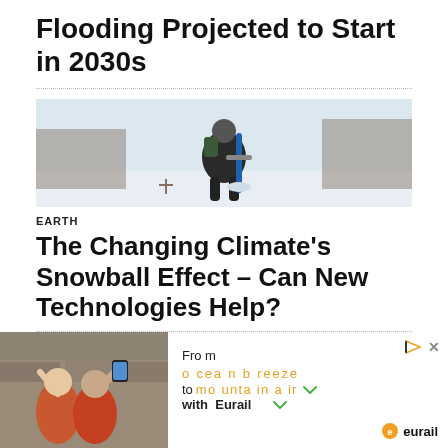Flooding Projected to Start in 2030s
[Figure (photo): Person in dark winter clothing kneeling in snow, drilling or collecting a snow core sample with a long blue cylindrical tool.]
EARTH
The Changing Climate’s Snowball Effect – Can New Technologies Help?
[Figure (photo): Advertisement showing two people taking a selfie outdoors near a stone wall, alongside Eurail branding text: From oceanbreeze to mountain air with Eurail.]